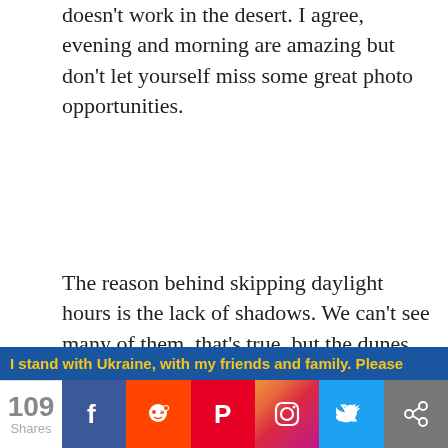doesn't work in the desert. I agree, evening and morning are amazing but don't let yourself miss some great photo opportunities.
The reason behind skipping daylight hours is the lack of shadows. We can't see many of them, that's true, but the dunes are not flat, their slopes can go on any angle. Therefore, if the slope is parallel to the light direction, you'll get all the shadows you want.
[Figure (photo): Panoramic sky photo with blue sky and white clouds]
I stand with Ukraine, with my friends and family. Please
109 Shares